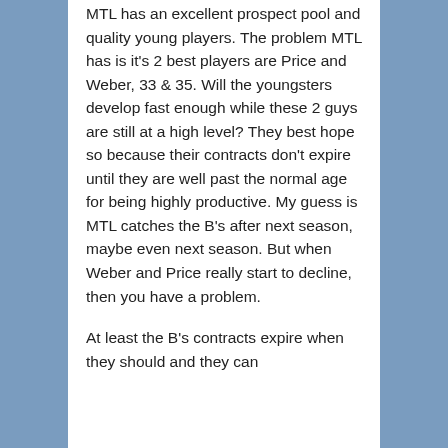MTL has an excellent prospect pool and quality young players. The problem MTL has is it's 2 best players are Price and Weber, 33 & 35. Will the youngsters develop fast enough while these 2 guys are still at a high level? They best hope so because their contracts don't expire until they are well past the normal age for being highly productive. My guess is MTL catches the B's after next season, maybe even next season. But when Weber and Price really start to decline, then you have a problem.
At least the B's contracts expire when they should and they can